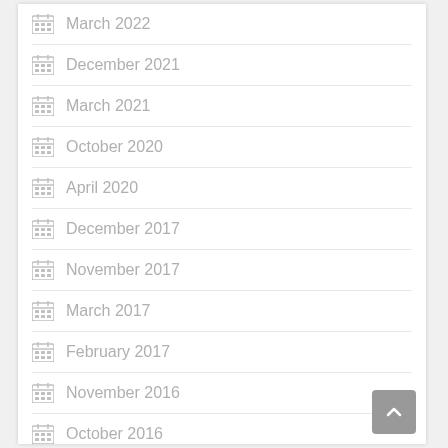March 2022
December 2021
March 2021
October 2020
April 2020
December 2017
November 2017
March 2017
February 2017
November 2016
October 2016